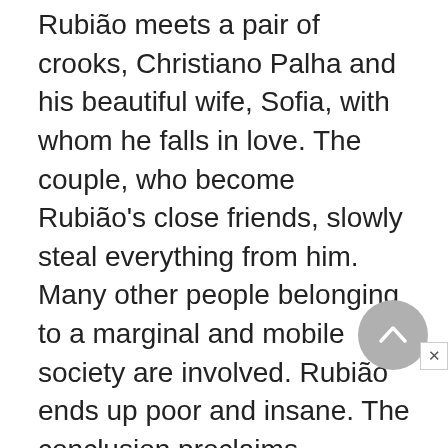Rubião meets a pair of crooks, Christiano Palha and his beautiful wife, Sofia, with whom he falls in love. The couple, who become Rubião's close friends, slowly steal everything from him. Many other people belonging to a marginal and mobile society are involved. Rubião ends up poor and insane. The conclusion proclaims universal indifference in the face of human suffering and the abandonment of man by supernatural forces.